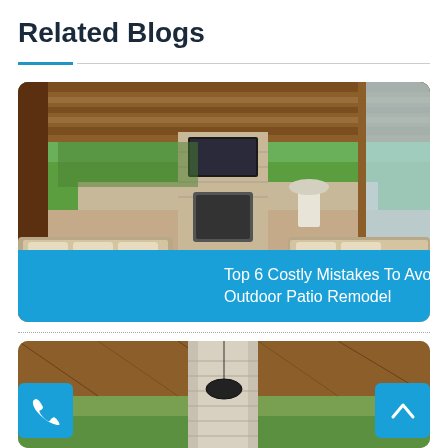Related Blogs
[Figure (photo): Outdoor covered patio with wicker sectional sofa, stone fireplace with mounted TV, and lush green backyard garden visible in the background.]
Top 6 Costly Mistakes To Avoid When Planning For Best Outdoor Patio Remodel
[Figure (photo): Partial view of a covered pergola with wood beam ceiling and stone water feature column, with a phone icon button and up arrow button overlaid at bottom corners.]